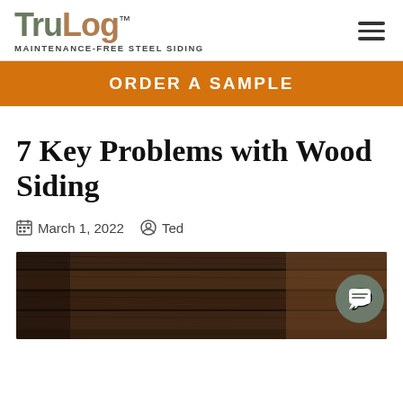TruLog™ MAINTENANCE-FREE STEEL SIDING
ORDER A SAMPLE
7 Key Problems with Wood Siding
March 1, 2022   Ted
[Figure (photo): Dark weathered wood siding boards close-up, showing wood grain texture in dark brown tones with a chat button overlay]